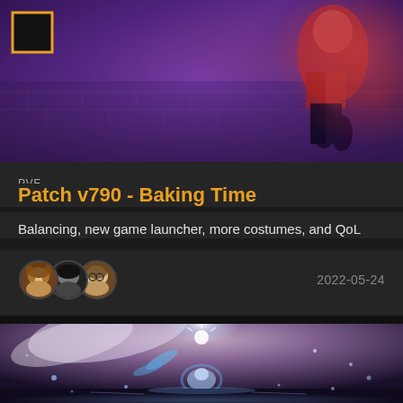[Figure (screenshot): Video game screenshot with purple/violet background showing stone architecture and a character in red costume on the right side. A small black square with orange border logo is in the top-left corner.]
PVE
Patch v790 - Baking Time
Balancing, new game launcher, more costumes, and QoL
2022-05-24
[Figure (screenshot): Video game screenshot showing a character in a fantasy scene with glowing white/blue magical effects, water reflections, and sparkles against a dark purple-pink sky background.]